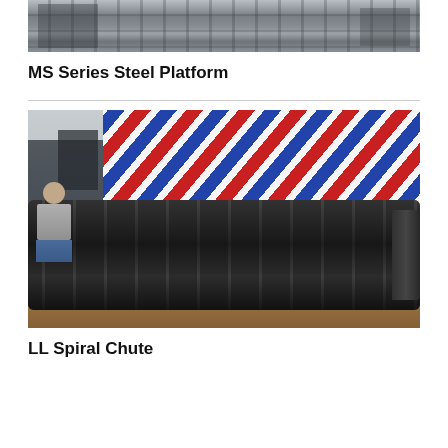[Figure (photo): Construction site photo showing steel platform structure with metal framework and industrial equipment in background]
MS Series Steel Platform
[Figure (photo): Outdoor construction site photo showing a large spiral chute equipment laid horizontally on the ground, with a worker standing nearby, red/blue striped tarp canopy overhead, sand and rubble in background]
LL Spiral Chute